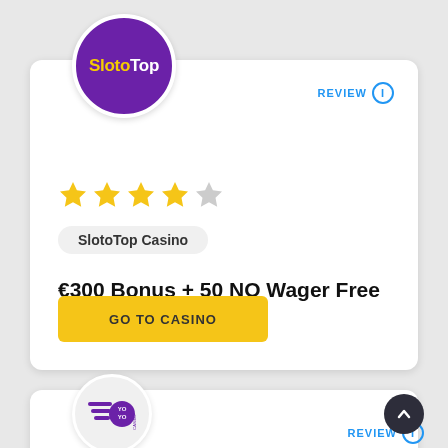[Figure (logo): SlotoTop casino logo: purple circle with yellow 'Sloto' and white 'Top' text]
REVIEW ⓘ
[Figure (other): 4 out of 5 yellow stars rating]
SlotoTop Casino
€300 Bonus + 50 NO Wager Free Spins
GO TO CASINO
[Figure (logo): YoYo Casino logo: white circle with purple speed-stripes and 'YO YO CASINO' text]
REVIEW ⓘ